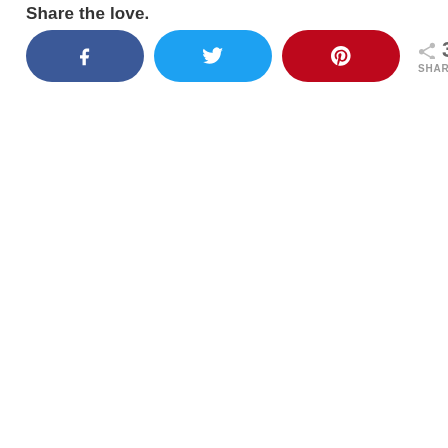Share the love.
[Figure (infographic): Social sharing buttons row: Facebook (dark blue pill button with 'f' icon), Twitter (light blue pill button with bird icon), Pinterest (red pill button with 'P' icon), and a share count showing 35 SHARES with a share arrow icon.]